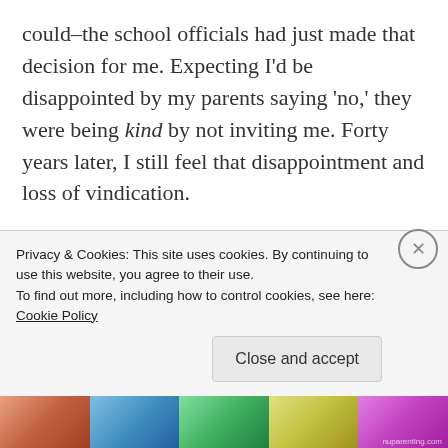could–the school officials had just made that decision for me. Expecting I'd be disappointed by my parents saying 'no,' they were being kind by not inviting me. Forty years later, I still feel that disappointment and loss of vindication.
Raising children on the spectrum brings me into a confrontation with this issue a lot. How often do others–or even us as parents–leave our kids out of activities because it's assumed they won't like it/do well at it/be interested? Are we being kind when we shield them from potential failure?
Privacy & Cookies: This site uses cookies. By continuing to use this website, you agree to their use.
To find out more, including how to control cookies, see here: Cookie Policy
Close and accept